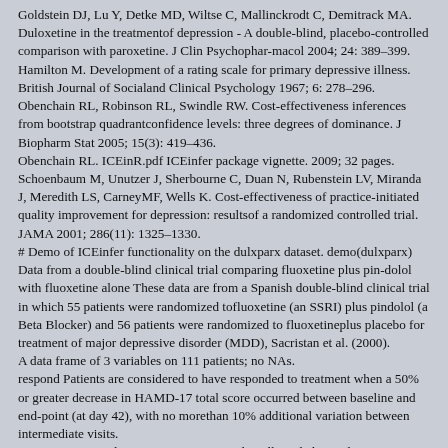Goldstein DJ, Lu Y, Detke MD, Wiltse C, Mallinckrodt C, Demitrack MA. Duloxetine in the treatmentof depression - A double-blind, placebo-controlled comparison with paroxetine. J Clin Psychophar-macol 2004; 24: 389–399.
Hamilton M. Development of a rating scale for primary depressive illness. British Journal of Socialand Clinical Psychology 1967; 6: 278–296.
Obenchain RL, Robinson RL, Swindle RW. Cost-effectiveness inferences from bootstrap quadrantconfidence levels: three degrees of dominance. J Biopharm Stat 2005; 15(3): 419–436.
Obenchain RL. ICEinR.pdf ICEinfer package vignette. 2009; 32 pages.
Schoenbaum M, Unutzer J, Sherbourne C, Duan N, Rubenstein LV, Miranda J, Meredith LS, CarneyMF, Wells K. Cost-effectiveness of practice-initiated quality improvement for depression: resultsof a randomized controlled trial. JAMA 2001; 286(11): 1325–1330.
# Demo of ICEinfer functionality on the dulxparx dataset. demo(dulxparx) Data from a double-blind clinical trial comparing fluoxetine plus pin-dolol with fluoxetine alone These data are from a Spanish double-blind clinical trial in which 55 patients were randomized tofluoxetine (an SSRI) plus pindolol (a Beta Blocker) and 56 patients were randomized to fluoxetineplus placebo for treatment of major depressive disorder (MDD), Sacristan et al. (2000).
A data frame of 3 variables on 111 patients; no NAs.
respond Patients are considered to have responded to treatment when a 50% or greater decrease in HAMD-17 total score occurred between baseline and end-point (at day 42), with no morethan 10% additional variation between intermediate visits.
cost Resources utilization was prospectively collected alongside...